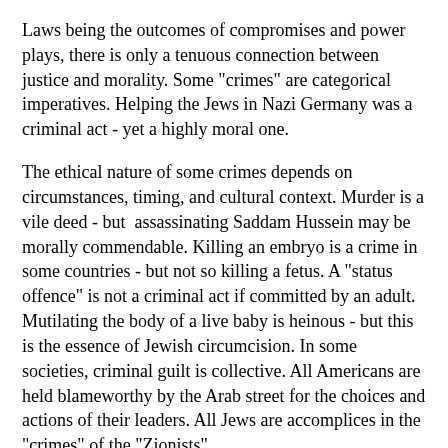Laws being the outcomes of compromises and power plays, there is only a tenuous connection between justice and morality. Some "crimes" are categorical imperatives. Helping the Jews in Nazi Germany was a criminal act - yet a highly moral one.
The ethical nature of some crimes depends on circumstances, timing, and cultural context. Murder is a vile deed - but  assassinating Saddam Hussein may be morally commendable. Killing an embryo is a crime in some countries - but not so killing a fetus. A "status offence" is not a criminal act if committed by an adult. Mutilating the body of a live baby is heinous - but this is the essence of Jewish circumcision. In some societies, criminal guilt is collective. All Americans are held blameworthy by the Arab street for the choices and actions of their leaders. All Jews are accomplices in the "crimes" of the "Zionists".
In all societies, crime is a growth industry. Millions of professionals - judges, police officers, criminologists, psychologists, journalists, publishers, prosecutors, lawyers...